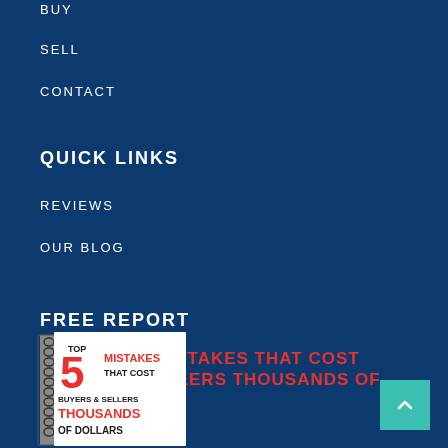BUY
SELL
CONTACT
QUICK LINKS
REVIEWS
OUR BLOG
FREE REPORT
FREE TOP 5 MISTAKES THAT COST BUYERS & SELLERS THOUSANDS OF DOLLARS
[Figure (illustration): Book cover showing 'Top 5 Mistakes That Cost Buyers & Sellers Thousands of Dollars']